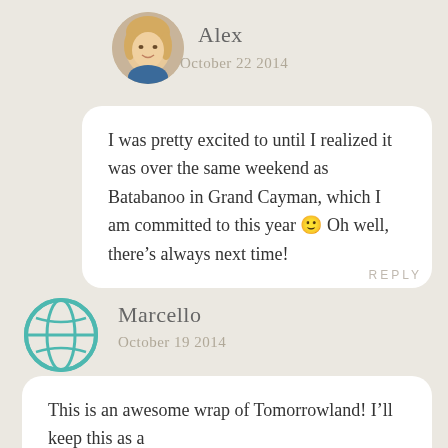[Figure (photo): Circular avatar photo of Alex, a blonde woman]
Alex
October 22 2014
I was pretty excited to until I realized it was over the same weekend as Batabanoo in Grand Cayman, which I am committed to this year 🙂 Oh well, there’s always next time!
REPLY
[Figure (illustration): Teal globe/world icon for Marcello's avatar]
Marcello
October 19 2014
This is an awesome wrap of Tomorrowland! I’ll keep this as a